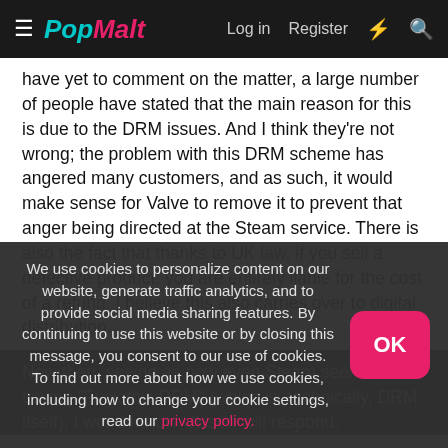PopMalt — Log in  Register
have yet to comment on the matter, a large number of people have stated that the main reason for this is due to the DRM issues. And I think they're not wrong; the problem with this DRM scheme has angered many customers, and as such, it would make sense for Valve to remove it to prevent that anger being directed at the Steam service. There is also the fact that thanks to UK law, if you sell a defective product, you are entirely liable for the cost of a refund. I believe this also carries over to digital distribution.
Now then, seeing as now even Steam seems to be saying "Fuck this DRM" (which is, technically, DRM itself), I wonder how Ubisoft will respond.
We use cookies to personalize content on our website, generate traffic analytics, and to provide social media sharing features. By continuing to use this website or by closing this message, you consent to our use of cookies. To find out more about how we use cookies, including how to change your cookie settings, read our privacy policy.